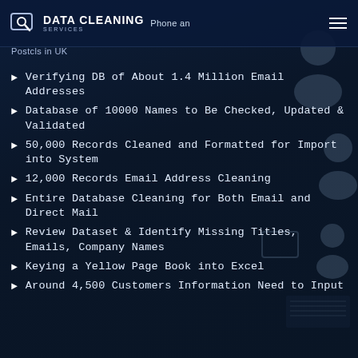DATA CLEANING SERVICES | Phone and Postcls in UK
Verifying DB of About 1.4 Million Email Addresses
Database of 10000 Names to Be Checked, Updated & Validated
50,000 Records Cleaned and Formatted for Import into System
12,000 Records Email Address Cleaning
Entire Database Cleaning for Both Email and Direct Mail
Review Dataset & Identify Missing Titles, Emails, Company Names
Keying a Yellow Page Book into Excel
Around 4,500 Customers Information Need to Input